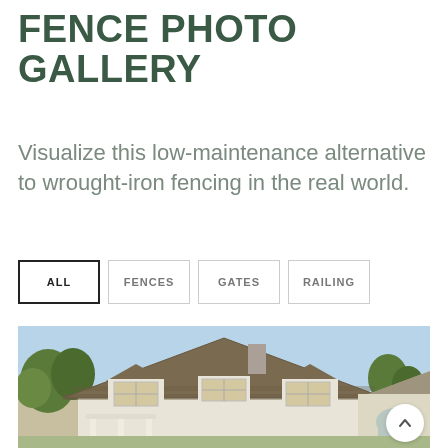FENCE PHOTO GALLERY
Visualize this low-maintenance alternative to wrought-iron fencing in the real world.
ALL
FENCES
GATES
RAILING
[Figure (photo): Exterior photo of a white two-story colonial house with a brown shingle roof and three dormer windows, surrounded by trees under a clear blue sky.]